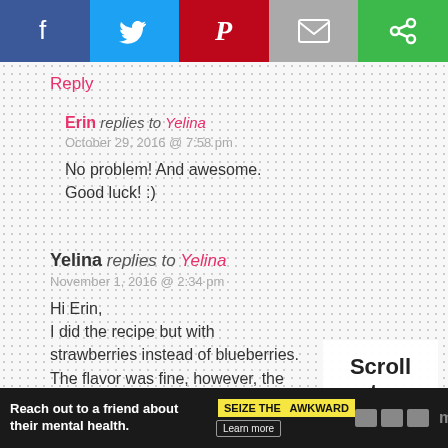[Figure (screenshot): Social share bar with Facebook, Twitter, Pinterest, Email, and Share icons]
Reply
Erin replies to Yelina
October 29, 2016 @ 7:58 pm

No problem! And awesome.
Good luck! :)
Yelina replies to Yelina
November 1, 2016 @ 2:34 pm

Hi Erin,
I did the recipe but with strawberries instead of blueberries.
The flavor was fine, however, the texture was way too “moist” for my
[Figure (other): Scroll to overlay label]
[Figure (other): Advertisement banner: Reach out to a friend about their mental health. Seize The Awkward.]